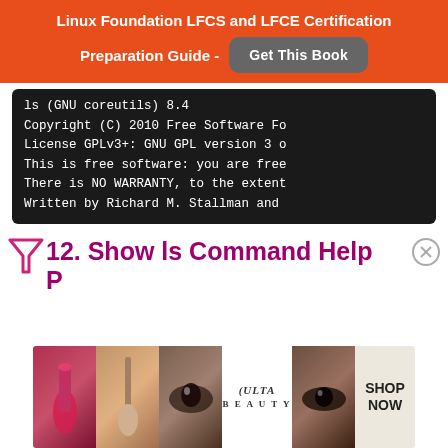Linux Foundation LFCS and LFCE Certification Preparation Guide - Get This Book
[Figure (screenshot): Terminal output showing ls (GNU coreutils) 8.4, Copyright (C) 2010 Free Software Foundation, License GPLv3+: GNU GPL version 3, This is free software: you are free, There is NO WARRANTY to the extent, Written by Richard M. Stallman and]
12. Show ls Command Help
[Figure (photo): Ulta Beauty advertisement showing makeup products including lipstick, brush, and eye makeup with SHOP NOW button]